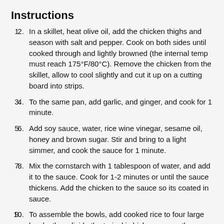Instructions
In a skillet, heat olive oil, add the chicken thighs and season with salt and pepper. Cook on both sides until cooked through and lightly browned (the internal temp must reach 175°F/80°C). Remove the chicken from the skillet, allow to cool slightly and cut it up on a cutting board into strips.
To the same pan, add garlic, and ginger, and cook for 1 minute.
Add soy sauce, water, rice wine vinegar, sesame oil, honey and brown sugar. Stir and bring to a light simmer, and cook the sauce for 1 minute.
Mix the cornstarch with 1 tablespoon of water, and add it to the sauce. Cook for 1-2 minutes or until the sauce thickens. Add the chicken to the sauce so its coated in sauce.
To assemble the bowls, add cooked rice to four large bowls, then divide the teriyaki chicken among them. Arrange your desired toppings on top of the bowls. Serve with lime wedges and Sriracha sauce.
Notes